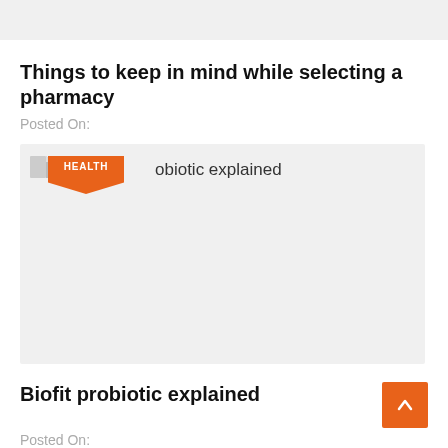[Figure (other): Top grey banner/header image area]
Things to keep in mind while selecting a pharmacy
Posted On:
[Figure (screenshot): Card with grey background, HEALTH orange badge, and text 'Biofit probiotic explained']
Biofit probiotic explained
Posted On: